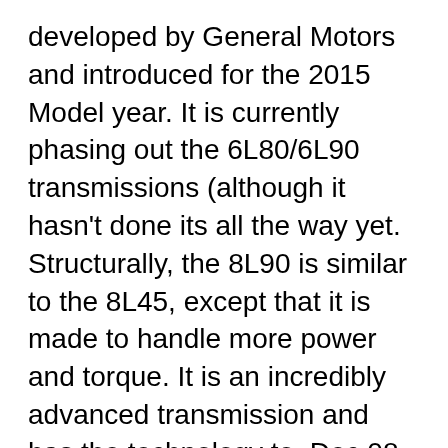developed by General Motors and introduced for the 2015 Model year. It is currently phasing out the 6L80/6L90 transmissions (although it hasn't done its all the way yet. Structurally, the 8L90 is similar to the 8L45, except that it is made to handle more power and torque. It is an incredibly advanced transmission and has the technology to, Dec 08, 2017 · The 2018 GMC Yukon Denali and Yukon XL Denali get several updates for the 2018 model year, and the most noteworthy is the addition of the new ....
GM Receives Patent for an 8-Speed Dual Clutch Transmission. Jan 29, 2018 · 2017 Ford F-150 10-speed Automatic